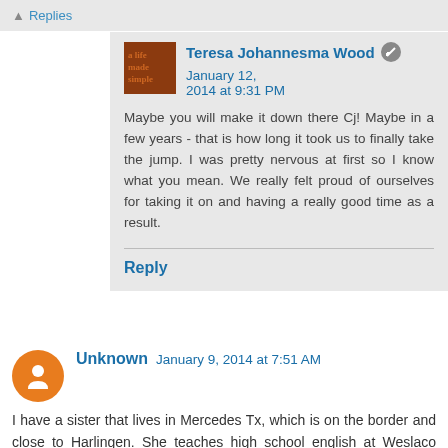↑ Replies
Teresa Johannesma Wood · January 12, 2014 at 9:31 PM
Maybe you will make it down there Cj! Maybe in a few years - that is how long it took us to finally take the jump. I was pretty nervous at first so I know what you mean. We really felt proud of ourselves for taking it on and having a really good time as a result.
Reply
Unknown   January 9, 2014 at 7:51 AM
I have a sister that lives in Mercedes Tx, which is on the border and close to Harlingen. She teaches high school english at Weslaco High. I visit her every winter and it seems everybody that lives year round on theTexas border is terrified to cross the border. I can't figure it out, when I am there I go across every day if only to eat. I love Mexico and will continue to go every chance I get. When are the times in a year to go?